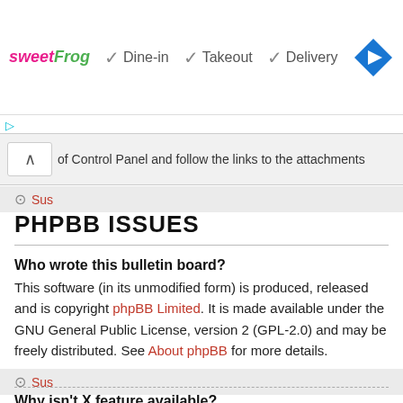[Figure (infographic): Advertisement banner: sweetFrog logo with checkmarks for Dine-in, Takeout, Delivery and a blue navigation diamond icon]
of Control Panel and follow the links to the attachments
Sus
PHPBB ISSUES
Who wrote this bulletin board?
This software (in its unmodified form) is produced, released and is copyright phpBB Limited. It is made available under the GNU General Public License, version 2 (GPL-2.0) and may be freely distributed. See About phpBB for more details.
Sus
Why isn't X feature available?
This software was written by and licensed through phpBB Limited. If you believe a feature needs to be added please visit the phpBB Ideas Centre, where you can upvote existing ideas or